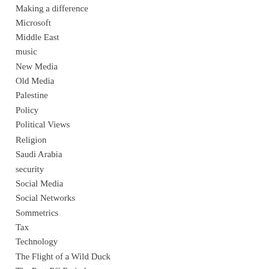Making a difference
Microsoft
Middle East
music
New Media
Old Media
Palestine
Policy
Political Views
Religion
Saudi Arabia
security
Social Media
Social Networks
Sommetrics
Tax
Technology
The Flight of a Wild Duck
The Post PC Period
Thoughts about the Media Industry
Travel
Uncategorized
Venture Capital